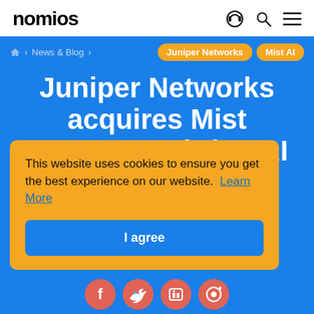nomios
News & Blog
Juniper Networks | Mist AI
Juniper Networks acquires Mist Systems to bring AI to IT
This website uses cookies to ensure you get the best experience on our website. Learn More
I agree